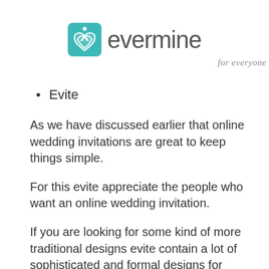[Figure (logo): Evermine logo: teal square icon with bow/ribbon design followed by the word 'evermine' in gray text, with 'for everyone' tagline in italic below]
Evite
As we have discussed earlier that online wedding invitations are great to keep things simple.
For this evite appreciate the people who want an online wedding invitation.
If you are looking for some kind of more traditional designs evite contain a lot of sophisticated and formal designs for wedding...